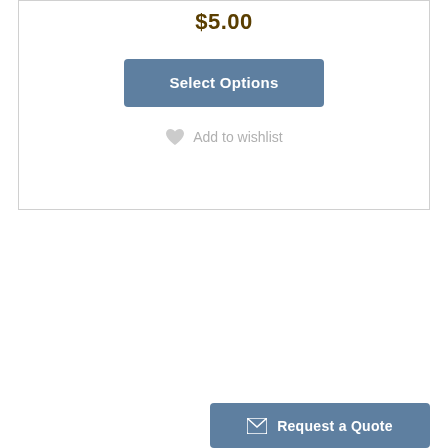$5.00
Select Options
Add to wishlist
Request a Quote